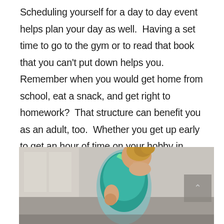Scheduling yourself for a day to day event helps plan your day as well.  Having a set time to go to the gym or to read that book that you can't put down helps you.  Remember when you would get home from school, eat a snack, and get right to homework?  That structure can benefit you as an adult, too.  Whether you get up early to get an hour of time on your hobby in before work, or immediately after work, if it helps you rejuvenate, it's worth it.
[Figure (photo): A woman in a teal/green athletic top running or exercising in what appears to be a gym with windows in the background. The image is cropped showing her from behind/side with her hair up.]